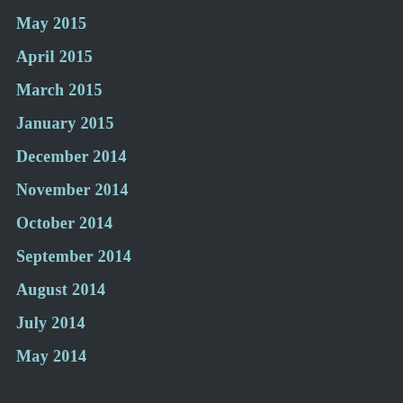May 2015
April 2015
March 2015
January 2015
December 2014
November 2014
October 2014
September 2014
August 2014
July 2014
May 2014